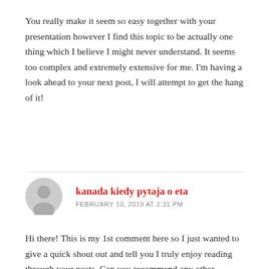You really make it seem so easy together with your presentation however I find this topic to be actually one thing which I believe I might never understand. It seems too complex and extremely extensive for me. I'm having a look ahead to your next post, I will attempt to get the hang of it!
kanada kiedy pytaja o eta
FEBRUARY 10, 2019 AT 2:31 PM
Hi there! This is my 1st comment here so I just wanted to give a quick shout out and tell you I truly enjoy reading through your posts. Can you recommend any other blogs/websites/forums that go over the same topics? Thanks a lot!